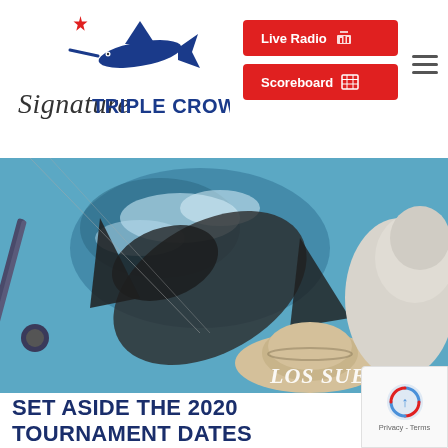[Figure (logo): Signature Triple Crown fishing tournament logo with marlin fish graphic and stylized text]
[Figure (other): Two buttons: 'Live Radio' and 'Scoreboard' in red background with white text]
[Figure (photo): Overhead view of a large marlin or billfish being released at the boat side into blue water; angler wearing tan cowboy hat visible; partial watermark text 'LOS SUE' visible at bottom right corner]
SET ASIDE THE 2020 TOURNAMENT DATES